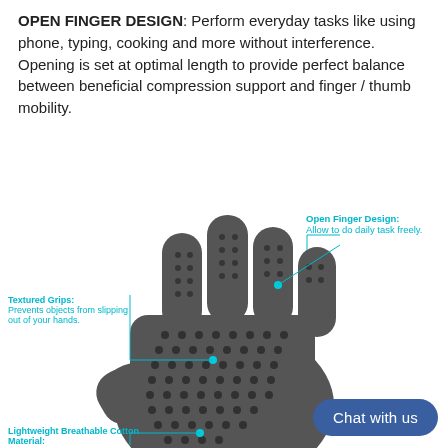OPEN FINGER DESIGN: Perform everyday tasks like using phone, typing, cooking and more without interference. Opening is set at optimal length to provide perfect balance between beneficial compression support and finger / thumb mobility.
[Figure (photo): Product photo of an open-finger compression glove (dark gray, textured grip dots on palm) with annotated callouts: 'Open Finger Design: Allow to do daily task freely.' (upper right), 'Textured Grips: Prevents objects from slipping out of your hands.' (left), 'Lightweight Breathable Cotton Material:' (lower left). A blue 'Chat with us' button appears in the lower right.]